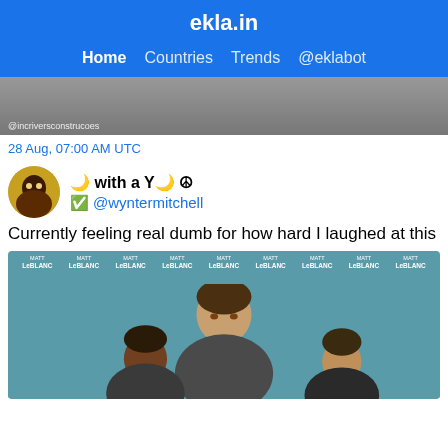ekla.in
Home  Countries  Trends  @eklabot
[Figure (photo): Partial previous image with watermark @incriversconstrucoes]
28 Aug, 07:00 AM UTC
[Figure (photo): Avatar of Twitter user wyntermitchell]
🌙 with a Y🌙 ☮
✅ @wyntermitchell
Currently feeling real dumb for how hard I laughed at this
[Figure (photo): Meme image showing Matt LeBlanc labeled multiple times across the top, with people visible below on a teal/green background]